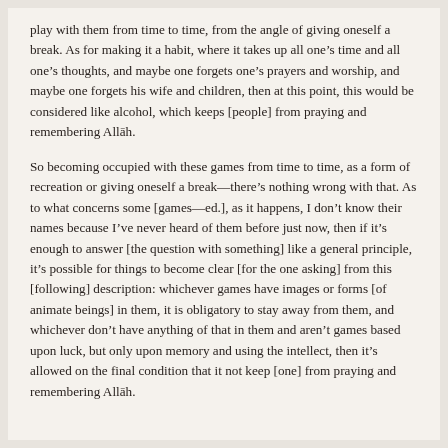play with them from time to time, from the angle of giving oneself a break. As for making it a habit, where it takes up all one's time and all one's thoughts, and maybe one forgets one's prayers and worship, and maybe one forgets his wife and children, then at this point, this would be considered like alcohol, which keeps [people] from praying and remembering Allāh.
So becoming occupied with these games from time to time, as a form of recreation or giving oneself a break—there's nothing wrong with that. As to what concerns some [games—ed.], as it happens, I don't know their names because I've never heard of them before just now, then if it's enough to answer [the question with something] like a general principle, it's possible for things to become clear [for the one asking] from this [following] description: whichever games have images or forms [of animate beings] in them, it is obligatory to stay away from them, and whichever don't have anything of that in them and aren't games based upon luck, but only upon memory and using the intellect, then it's allowed on the final condition that it not keep [one] from praying and remembering Allāh.